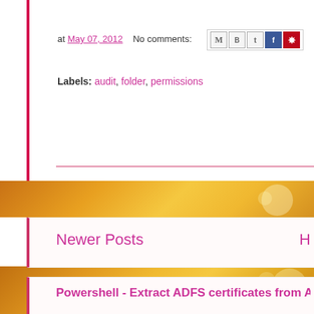at May 07, 2012   No comments:
Labels: audit, folder, permissions
Newer Posts
Subscribe t...
Powershell - Extract ADFS certificates from ADFS server
Powershell - Extract ADFS certificates from ADFS server
Wrote script so people specify the adfs server and the signature and enc...
Excel document for pinging list of computers VBA
Here is an excel document I created that will ping a list of m... th...
[Figure (screenshot): Screenshot thumbnail of an Excel spreadsheet with colored cells]